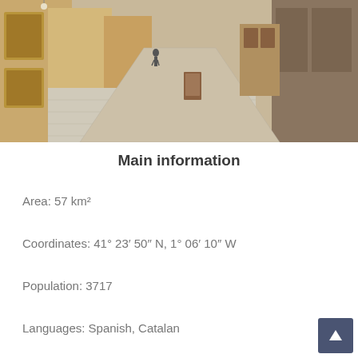[Figure (photo): Street view of a narrow European (Spanish/Catalan) alley with stone buildings, tiled pavement, and a person walking in the background.]
Main information
Area: 57 km²
Coordinates: 41° 23′ 50″ N, 1° 06′ 10″ W
Population: 3717
Languages: Spanish, Catalan